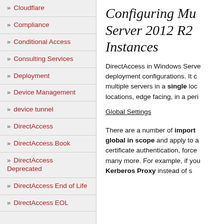» Cloudflare
» Compliance
» Conditional Access
» Consulting Services
» Deployment
» Device Management
» device tunnel
» DirectAccess
» DirectAccess Book
» DirectAccess Deprecated
» DirectAccess End of Life
» DirectAccess EOL
Configuring Mu Server 2012 R2 Instances
DirectAccess in Windows Server deployment configurations. It can multiple servers in a single location, edge facing, in a peri
Global Settings
There are a number of important global in scope and apply to all certificate authentication, force many more. For example, if you Kerberos Proxy instead of s